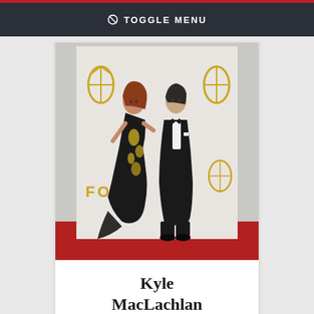⊘ TOGGLE MENU
[Figure (photo): A couple standing on a red carpet at what appears to be an Emmy Awards event. A woman in a black and gold floral gown stands next to a man in a black tuxedo with a bow tie. Emmy award logos are visible in the background.]
Kyle MacLachlan
Vote for Kyle MacLachlan